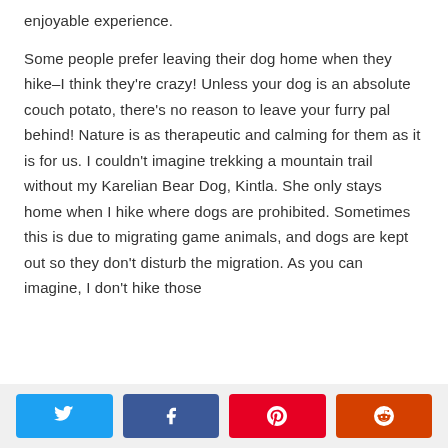enjoyable experience.

Some people prefer leaving their dog home when they hike–I think they're crazy! Unless your dog is an absolute couch potato, there's no reason to leave your furry pal behind! Nature is as therapeutic and calming for them as it is for us. I couldn't imagine trekking a mountain trail without my Karelian Bear Dog, Kintla. She only stays home when I hike where dogs are prohibited. Sometimes this is due to migrating game animals, and dogs are kept out so they don't disturb the migration. As you can imagine, I don't hike those
[Social share buttons: Twitter, Facebook, Pinterest, Reddit]